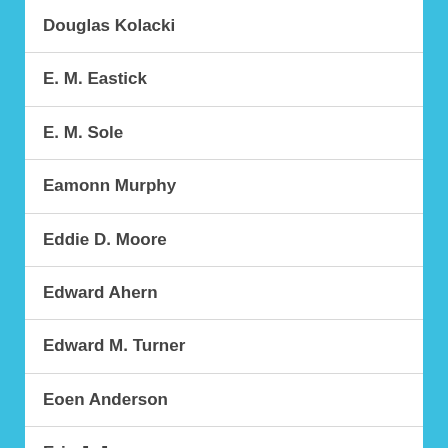Douglas Kolacki
E. M. Eastick
E. M. Sole
Eamonn Murphy
Eddie D. Moore
Edward Ahern
Edward M. Turner
Eoen Anderson
Eric J. Juneau